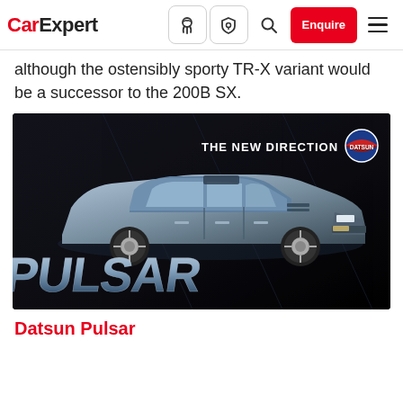CarExpert — navigation bar with logo, icons, Enquire button, and menu
although the ostensibly sporty TR-X variant would be a successor to the 200B SX.
[Figure (photo): Vintage Datsun Pulsar advertisement showing a blue/silver 4-door sedan on a black background. Large stylized 'PULSAR' text in chrome/blue at the bottom. Top right reads 'THE NEW DIRECTION' with the Datsun circular logo.]
Datsun Pulsar